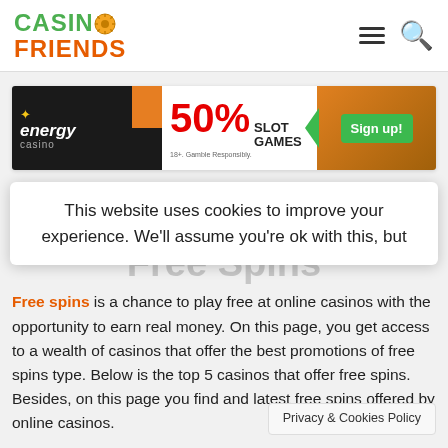Casino Friends
[Figure (infographic): Energy Casino banner ad: 50% Slot Games with Sign up button]
This website uses cookies to improve your experience. We'll assume you're ok with this, but
Free Spins
Free spins is a chance to play free at online casinos with the opportunity to earn real money. On this page, you get access to a wealth of casinos that offer the best promotions of free spins type. Below is the top 5 casinos that offer free spins. Besides, on this page you find and latest free spins offered by online casinos.
Privacy & Cookies Policy